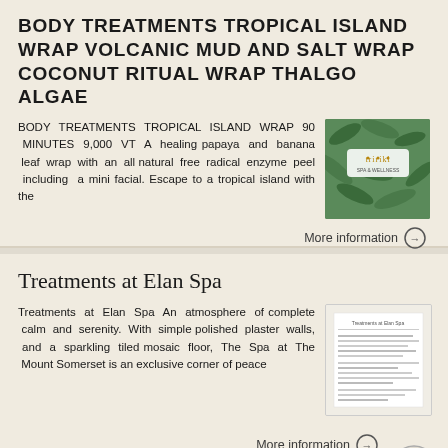BODY TREATMENTS TROPICAL ISLAND WRAP VOLCANIC MUD AND SALT WRAP COCONUT RITUAL WRAP THALGO ALGAE
BODY TREATMENTS TROPICAL ISLAND WRAP 90 MINUTES 9,000 VT A healing papaya and banana leaf wrap with an all natural free radical enzyme peel including a mini facial. Escape to a tropical island with the
[Figure (photo): Green tropical leaf pattern with Tririki brand logo]
More information →
Treatments at Elan Spa
Treatments at Elan Spa An atmosphere of complete calm and serenity. With simple polished plaster walls, and a sparkling tiled mosaic floor, The Spa at The Mount Somerset is an exclusive corner of peace
[Figure (screenshot): Document page showing Treatments at Elan Spa text]
More information →